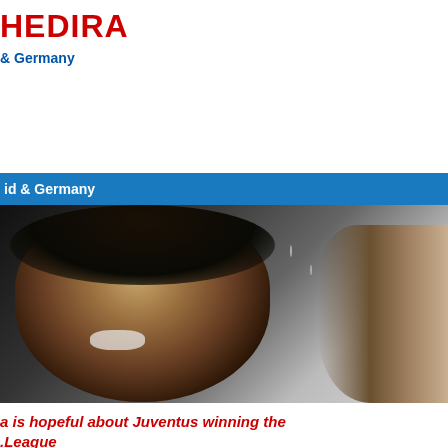HEDIRA
& Germany
id & Germany
[Figure (photo): Close-up of a male football player with long dark hair, mouth open, shouting/celebrating, with another player with raised fist visible on the right]
a is hopeful about Juventus winning the .League
fact that Juventus is the most dominating club in Italy and it has been 6 years as they have successively managed to win the Serie A title in a
[Figure (photo): Football player with curly/wavy blonde hair, wearing dark jersey, photographed from below with crowd in background]
Home
» SAMI...
» Sami...
» Playi...
» Playi...
Tags
#realm along B Bunde course...